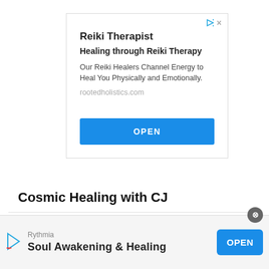[Figure (screenshot): Advertisement box for Reiki Therapist with title, subtitle, body text, URL, and OPEN button]
Reiki Therapist
Healing through Reiki Therapy
Our Reiki Healers Channel Energy to Heal You Physically and Emotionally.
rootedholistics.com
Cosmic Healing with CJ
[Figure (screenshot): Bottom banner ad for Rythmia Soul Awakening & Healing with OPEN button]